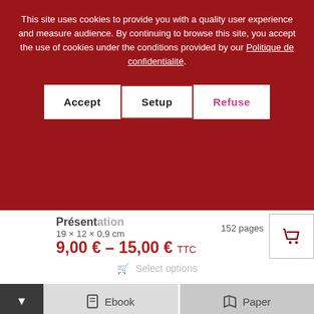This site uses cookies to provide you with a quality user experience and measure audience. By continuing to browse this site, you accept the use of cookies under the conditions provided by our Politique de confidentialité.
Accept | Setup | Refuse
Présentation
19 × 12 × 0,9 cm
152 pages
9,00 € – 15,00 € TTC
Select options
Ebook
Paper
Stay tuned to all our news
Adresse email (obligatoire)
politique de confidentialité *
Subscribe
ou
Choisir les détails